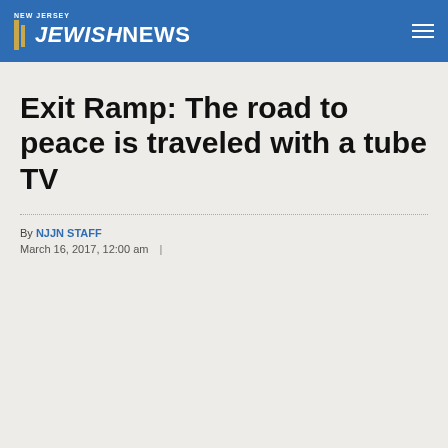NEW JERSEY JEWISH NEWS
Exit Ramp: The road to peace is traveled with a tube TV
By NJJN STAFF
March 16, 2017, 12:00 am  |